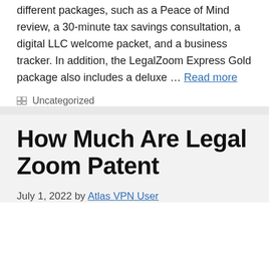different packages, such as a Peace of Mind review, a 30-minute tax savings consultation, a digital LLC welcome packet, and a business tracker. In addition, the LegalZoom Express Gold package also includes a deluxe … Read more
Uncategorized
How Much Are Legal Zoom Patent
July 1, 2022 by Atlas VPN User